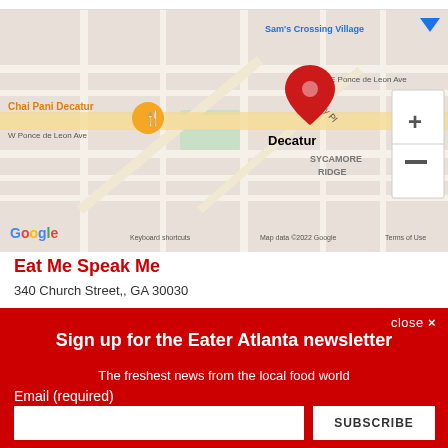[Figure (map): Google Maps screenshot showing Decatur, GA area with a red pin marker near 'Decatur', a yellow pin for 'Chai Pani Decatur', street labels including W Ponce de Leon Ave, E Ponce de Leon Ave, W Trinity Pl, E Trinity Pl, and neighborhood label 'SYCAMORE RIDGE', 'Sam's Crossing Village' in upper right, Google logo and map attribution at bottom.]
Eat Me Speak Me
340 Church Street,, GA 30030
close ×
Sign up for the Eater Atlanta newsletter
The freshest news from the local food world
Email (required)
SUBSCRIBE
By submitting your email, you agree to our Terms and Privacy Notice. You can opt out at any time. This site is protected by reCAPTCHA and the Google Privacy Policy and Terms of Service apply.